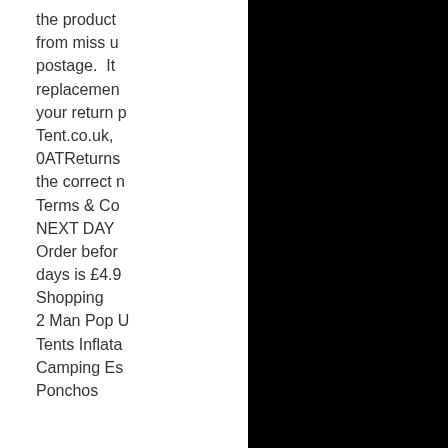the product
from miss u
postage.  It
replacemen
your return p
Tent.co.uk,
0ATReturns
the correct n
Terms & Co
NEXT DAY
Order befor
days is £4.9
Shopping
2 Man Pop U
Tents Inflata
Camping Es
Ponchos